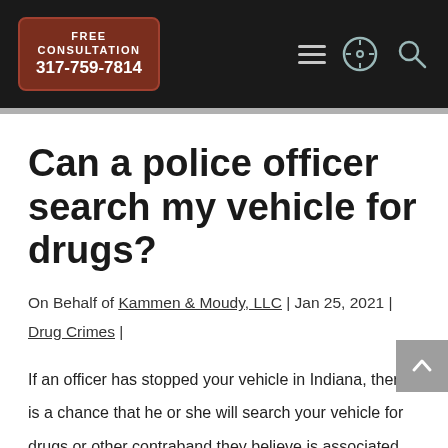FREE CONSULTATION 317-759-7814
Can a police officer search my vehicle for drugs?
On Behalf of Kammen & Moudy, LLC | Jan 25, 2021 | Drug Crimes |
If an officer has stopped your vehicle in Indiana, there is a chance that he or she will search your vehicle for drugs or other contraband they believe is associated with criminal activity. If drugs or drug paraphernalia is found in your vehicle, the officer may charge you with a drug crime. However, not all